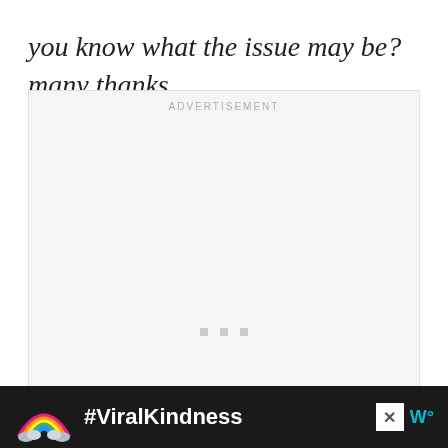you know what the issue may be? many thanks
[Figure (other): Advertisement placeholder box with 'ADVERTISEMENT' label at top and three small gray squares centered near bottom]
[Figure (other): Dark banner advertisement with rainbow illustration on left, '#ViralKindness' bold white text in center, close button (X) and 'W°' logo on right]